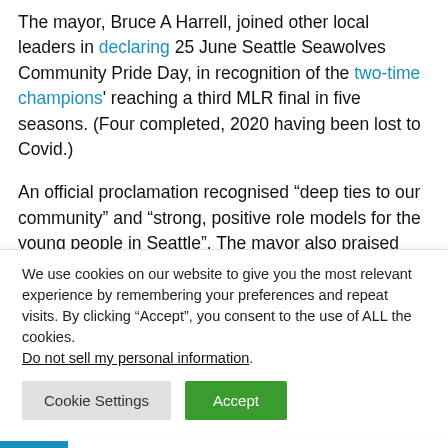The mayor, Bruce A Harrell, joined other local leaders in declaring 25 June Seattle Seawolves Community Pride Day, in recognition of the two-time champions' reaching a third MLR final in five seasons. (Four completed, 2020 having been lost to Covid.)
An official proclamation recognised “deep ties to our community” and “strong, positive role models for the young people in Seattle”. The mayor also praised “one of the most passionate and vibrant fanbases in the league and beyond”.
We use cookies on our website to give you the most relevant experience by remembering your preferences and repeat visits. By clicking “Accept”, you consent to the use of ALL the cookies. Do not sell my personal information.